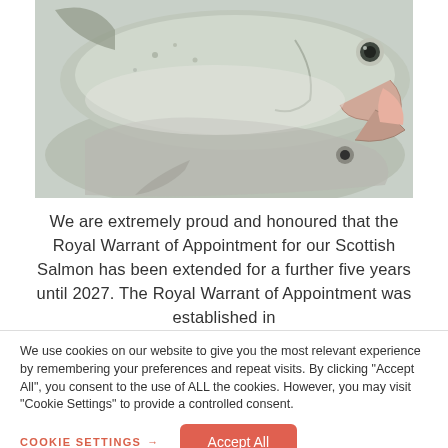[Figure (photo): Close-up photograph of two fresh Atlantic/Scottish salmon fish heads, showing silvery-pink scales, eyes, and mouths, placed on a light surface.]
We are extremely proud and honoured that the Royal Warrant of Appointment for our Scottish Salmon has been extended for a further five years until 2027. The Royal Warrant of Appointment was established in
We use cookies on our website to give you the most relevant experience by remembering your preferences and repeat visits. By clicking "Accept All", you consent to the use of ALL the cookies. However, you may visit "Cookie Settings" to provide a controlled consent.